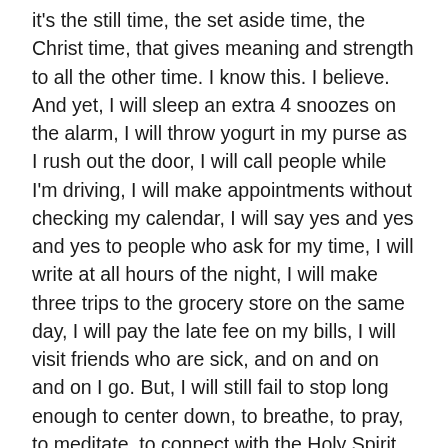it's the still time, the set aside time, the Christ time, that gives meaning and strength to all the other time. I know this. I believe. And yet, I will sleep an extra 4 snoozes on the alarm, I will throw yogurt in my purse as I rush out the door, I will call people while I'm driving, I will make appointments without checking my calendar, I will say yes and yes and yes to people who ask for my time, I will write at all hours of the night, I will make three trips to the grocery store on the same day, I will pay the late fee on my bills, I will visit friends who are sick, and on and on and on I go. But, I will still fail to stop long enough to center down, to breathe, to pray, to meditate, to connect with the Holy Spirit, to utter gratitude in the silence.
Jesus had a very small window in the flesh. Jesus was more than humanity could tolerate. And yet, despite the urgency of need in the world, he found time for solitude.